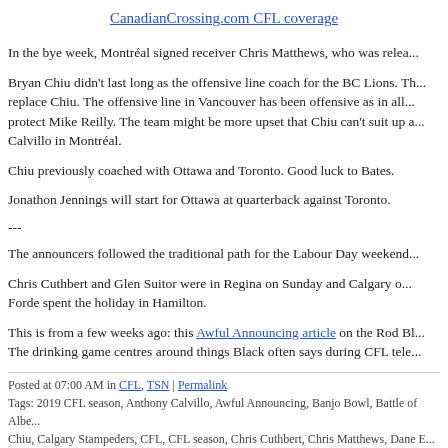CanadianCrossing.com CFL coverage
In the bye week, Montréal signed receiver Chris Matthews, who was relea...
Bryan Chiu didn't last long as the offensive line coach for the BC Lions. Th... replace Chiu. The offensive line in Vancouver has been offensive as in all... protect Mike Reilly. The team might be more upset that Chiu can't suit up a... Calvillo in Montréal.
Chiu previously coached with Ottawa and Toronto. Good luck to Bates.
Jonathon Jennings will start for Ottawa at quarterback against Toronto.
---
The announcers followed the traditional path for the Labour Day weekend...
Chris Cuthbert and Glen Suitor were in Regina on Sunday and Calgary o... Forde spent the holiday in Hamilton.
This is from a few weeks ago: this Awful Announcing article on the Rod Bl... The drinking game centres around things Black often says during CFL tele...
Posted at 07:00 AM in CFL, TSN | Permalink
Tags: 2019 CFL season, Anthony Calvillo, Awful Announcing, Banjo Bowl, Battle of Albe... Chiu, Calgary Stampeders, CFL, CFL season, Chris Cuthbert, Chris Matthews, Dane E... Edmonton Esks, Frankie Williams, Glen Suitor, Grey Cup, Hamilton Tiger-Cats, James...